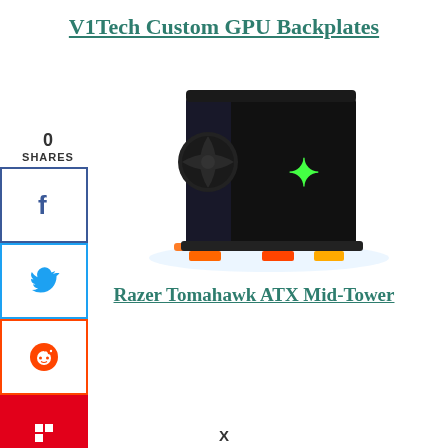V1Tech Custom GPU Backplates
[Figure (photo): Razer Tomahawk ATX Mid-Tower PC case, black with glass panel, Razer logo, and RGB lighting at the base]
Razer Tomahawk ATX Mid-Tower
0 SHARES
X